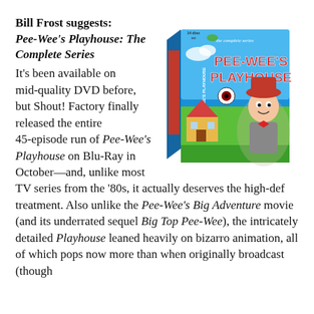Bill Frost suggests: Pee-Wee's Playhouse: The Complete Series
[Figure (photo): Box set of Pee-Wee's Playhouse: The Complete Series on Blu-Ray, showing colorful packaging with Pee-Wee Herman character and animated playhouse scenes]
It's been available on mid-quality DVD before, but Shout! Factory finally released the entire 45-episode run of Pee-Wee's Playhouse on Blu-Ray in October—and, unlike most TV series from the '80s, it actually deserves the high-def treatment. Also unlike the Pee-Wee's Big Adventure movie (and its underrated sequel Big Top Pee-Wee), the intricately detailed Playhouse leaned heavily on bizarro animation, all of which pops now more than when originally broadcast (though